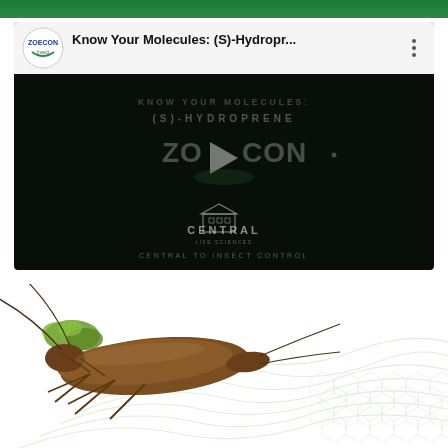[Figure (screenshot): Green header bar at top of page]
[Figure (screenshot): YouTube-style video thumbnail showing Zoecon 'Know Your Molecules: (S)-Hydroprene' video with dark background, play button, KNOW YOUR MOLECULES / (S)-HYDROPRENE text overlay, Zoecon logo, and Central Life Sciences / Central to Insect Control branding at bottom]
[Figure (photo): Cockroach insect photo positioned at bottom left over decorative green wave/honeycomb pattern background]